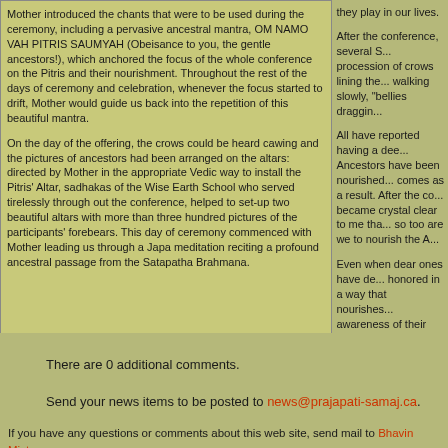Mother introduced the chants that were to be used during the ceremony, including a pervasive ancestral mantra, OM NAMO VAH PITRIS SAUMYAH (Obeisance to you, the gentle ancestors!), which anchored the focus of the whole conference on the Pitris and their nourishment. Throughout the rest of the days of ceremony and celebration, whenever the focus started to drift, Mother would guide us back into the repetition of this beautiful mantra.
On the day of the offering, the crows could be heard cawing and the pictures of ancestors had been arranged on the altars: directed by Mother in the appropriate Vedic way to install the Pitris' Altar, sadhakas of the Wise Earth School who served tirelessly through out the conference, helped to set-up two beautiful altars with more than three hundred pictures of the participants' forebears. This day of ceremony commenced with Mother leading us through a Japa meditation reciting a profound ancestral passage from the Satapatha Brahmana.
they play in our lives.
After the conference, several S... procession of crows lining the... walking slowly, "bellies draggin...
All have reported having a dee... Ancestors have been nourished... comes as a result. After the co... became crystal clear to me tha... so too are we to nourish the A...
Even when dear ones have de... honored in a way that nourishes... awareness of their continual p... spirits be continually nourished... continually pour out to us.
As Mother says, may we all re... the forebears and that when w... Self. And may everyone enjoy... who attend ended the confere... nourishing the Pitris.
There are 0 additional comments.
Send your news items to be posted to news@prajapati-samaj.ca.
If you have any questions or comments about this web site, send mail to Bhavin Mistry.
© 1997-2003 Prajaapati Vishva Aashram Foundation.
Site Design by Helios Logistics Inc.